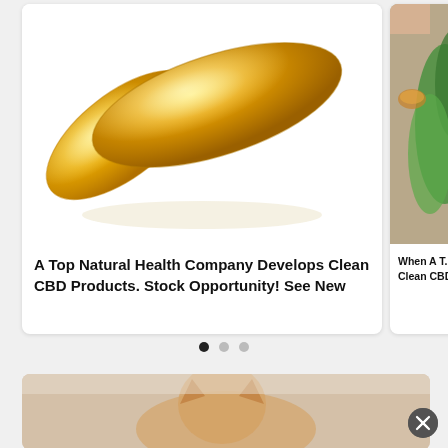[Figure (photo): Two golden/amber gel capsule supplements on a white background]
A Top Natural Health Company Develops Clean CBD Products. Stock Opportunity! See New
[Figure (photo): Partial view of a natural health/CBD product photo with green plants, a small bowl of capsules, and a hand — partially cropped on right side]
When A T... Clean CBD...
[Figure (photo): Carousel navigation dots: three dots, first (leftmost) filled dark, second and third light grey]
[Figure (photo): Bottom card showing a cat with orange/tan fur, partially visible, with a close/dismiss X button overlay]